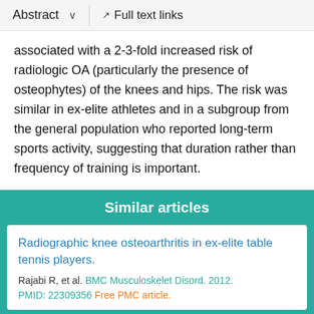Abstract    ∨    Full text links
associated with a 2-3-fold increased risk of radiologic OA (particularly the presence of osteophytes) of the knees and hips. The risk was similar in ex-elite athletes and in a subgroup from the general population who reported long-term sports activity, suggesting that duration rather than frequency of training is important.
Similar articles
Radiographic knee osteoarthritis in ex-elite table tennis players.
Rajabi R, et al. BMC Musculoskelet Disord. 2012.
PMID: 22309356 Free PMC article.
The effect of weight-bearing exercise on bone